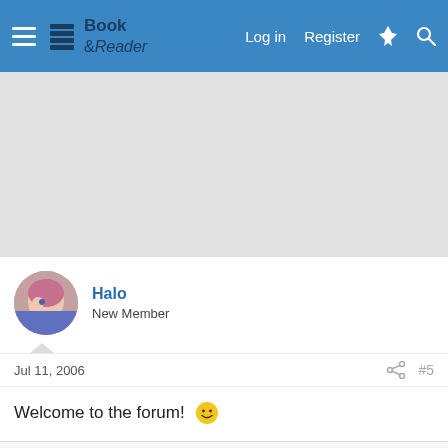Book & Reader — Log in   Register
[Figure (other): Gray advertisement banner area]
Halo
New Member
Jul 11, 2006   #5
Welcome to the forum! 🙂
FrodoLIVES
New Member